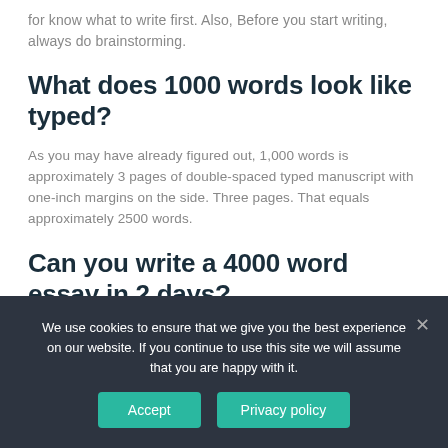for know what to write first. Also, Before you start writing, always do brainstorming.
What does 1000 words look like typed?
As you may have already figured out, 1,000 words is approximately 3 pages of double-spaced typed manuscript with one-inch margins on the side. Three pages. That equals approximately 2500 words.
Can you write a 4000 word essay in 2 days?
You may be able to type 4000 words in two days, but do not think that
We use cookies to ensure that we give you the best experience on our website. If you continue to use this site we will assume that you are happy with it.